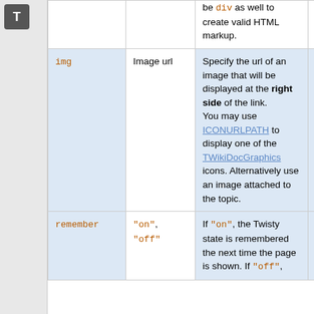| Parameter | Values | Description | Notes |
| --- | --- | --- | --- |
|  |  | be div as well to create valid HTML markup. |  |
| img | Image url | Specify the url of an image that will be displayed at the right side of the link. You may use ICONURLPATH to display one of the TWikiDocGraphics icons. Alternatively use an image attached to the topic. | optional, defaults to no image |
| remember | "on", "off" | If "on", the Twisty state is remembered the next time the page is shown. If "off", | optional, no default |